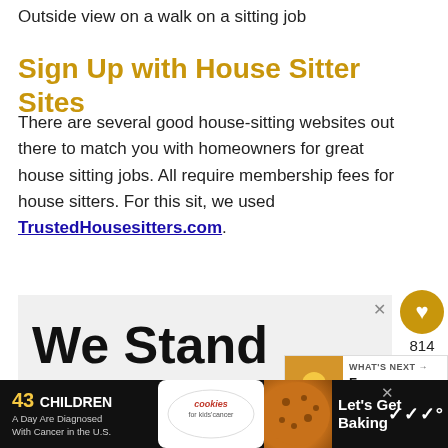Outside view on a walk on a sitting job
Sign Up with House Sitter Sites
There are several good house-sitting websites out there to match you with homeowners for great house sitting jobs. All require membership fees for house sitters. For this sit, we used TrustedHousesitters.com.
[Figure (screenshot): Advertisement banner showing bold text 'We Stand Together' on a light gray background with a close (X) button]
[Figure (infographic): 'What's Next' sidebar overlay showing a thumbnail image of people and text 'Free Accommodati...']
[Figure (infographic): Bottom advertisement banner: '43 CHILDREN A Day Are Diagnosed With Cancer in the U.S.' with cookies for kids' cancer logo and 'Let's Get Baking' text]